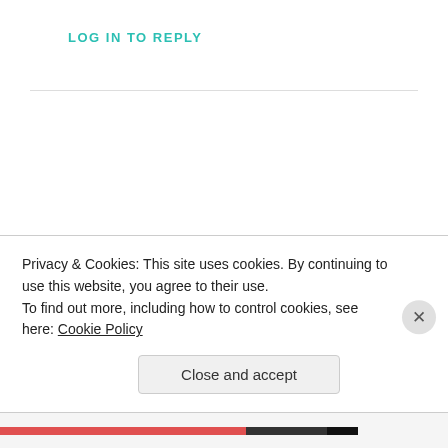LOG IN TO REPLY
oz
MARCH 30, 2017 AT 10:34 AM
Thanks regarding providing this type of
Privacy & Cookies: This site uses cookies. By continuing to use this website, you agree to their use.
To find out more, including how to control cookies, see here: Cookie Policy
Close and accept